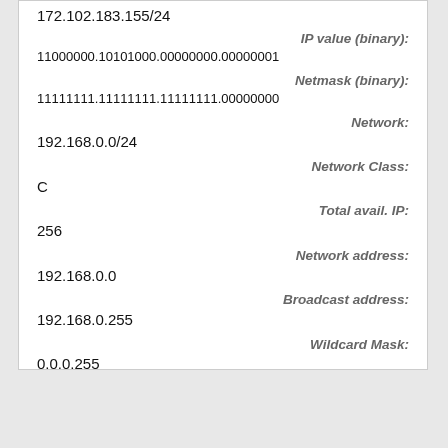172.102.183.155/24
IP value (binary):
11000000.10101000.00000000.00000001
Netmask (binary):
11111111.11111111.11111111.00000000
Network:
192.168.0.0/24
Network Class:
C
Total avail. IP:
256
Network address:
192.168.0.0
Broadcast address:
192.168.0.255
Wildcard Mask:
0.0.0.255